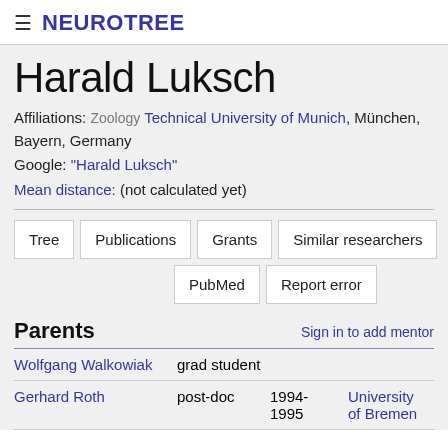≡ NEUROTREE
Harald Luksch
Affiliations: Zoology Technical University of Munich, München, Bayern, Germany
Google: "Harald Luksch"
Mean distance: (not calculated yet)
Tree
Publications
Grants
Similar researchers
PubMed
Report error
Parents
Sign in to add mentor
|  | Role | Years | Institution |
| --- | --- | --- | --- |
| Wolfgang Walkowiak | grad student |  |  |
| Gerhard Roth | post-doc | 1994-1995 | University of Bremen |